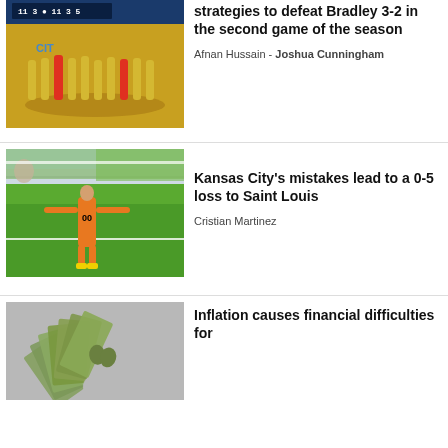[Figure (photo): Soccer team huddle on field with scoreboard showing 3-5 in blue and yellow uniforms]
strategies to defeat Bradley 3-2 in the second game of the season
Afnan Hussain - Joshua Cunningham
[Figure (photo): Soccer goalkeeper in orange uniform with number 00 on field with arms outstretched]
Kansas City’s mistakes lead to a 0-5 loss to Saint Louis
Cristian Martinez
[Figure (photo): Fan of US dollar bills spread out on gray background]
Inflation causes financial difficulties for